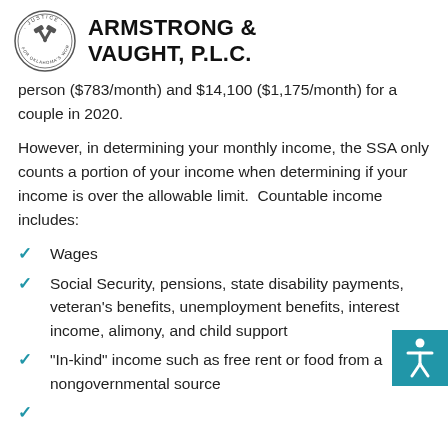ARMSTRONG & VAUGHT, P.L.C.
person ($783/month) and $14,100 ($1,175/month) for a couple in 2020.
However, in determining your monthly income, the SSA only counts a portion of your income when determining if your income is over the allowable limit. Countable income includes:
Wages
Social Security, pensions, state disability payments, veteran's benefits, unemployment benefits, interest income, alimony, and child support
“In-kind” income such as free rent or food from a nongovernmental source